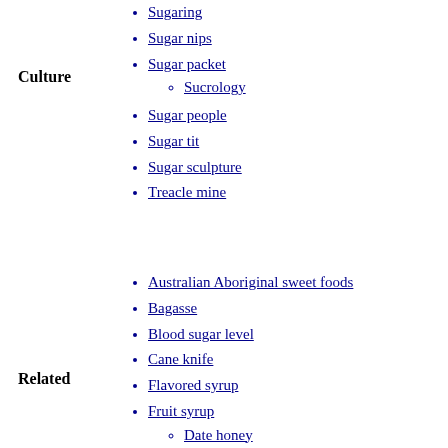Sugaring
Sugar nips
Sugar packet
Sucrology
Sugar people
Sugar tit
Sugar sculpture
Treacle mine
Culture
Australian Aboriginal sweet foods
Bagasse
Blood sugar level
Cane knife
Flavored syrup
Fruit syrup
Date honey
Grape
Jallab
Health effects
Nectar
Sugar addiction
Sugars in wine
Residual sugar
Sugar substitute
Related